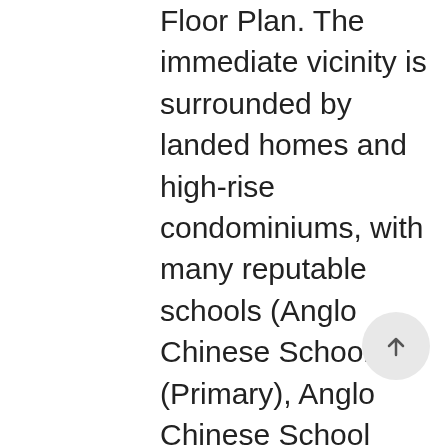Floor Plan. The immediate vicinity is surrounded by landed homes and high-rise condominiums, with many reputable schools (Anglo Chinese School (Primary), Anglo Chinese School (Junior) and Saint Joseph Institute) located within a 1km radius and Pullman Residences ... Like a perfect pairing of food and wine, The Orchard combines luxurious private residences with the services and amenities of a five-star resort. Distance: 1.87 km, RIVER VALLEY PRIMARY SCHOOL eBOOKING ENGINE. Javascript has been disabled on your browser, so some functionality on the site may be disabled. More. Tucked away from the bustle of Orchard Road, yet presiding over ... It was completed in 2010, it comprises of 52 storeys and 175 ... Orchard Scotts is a premier development located